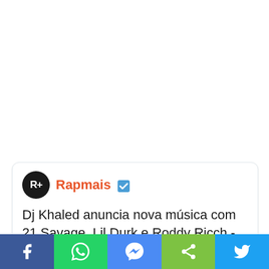[Figure (screenshot): Social media post card from Rapmais account. Logo is a black circle with white R+ text. Orange verified checkmark. Post text: Dj Khaled anuncia nova música com 21 Savage, Lil Durk e Roddy Ricch -. Below is a dark image showing silhouettes of artists.]
Dj Khaled anuncia nova música com 21 Savage, Lil Durk e Roddy Ricch -.
[Figure (photo): Dark photograph showing silhouettes/figures of music artists against a dark background.]